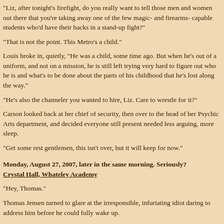"Liz, after tonight's firefight, do you really want to tell those men and women out there that you're taking away one of the few magic- and firearms- capable students who'd have their backs in a stand-up fight?"
"That is not the point. This Metro's a child."
Louis broke in, quietly, "He was a child, some time ago. But when he's out of a uniform, and not on a mission, he is still left trying very hard to figure out who he is and what's to be done about the parts of his childhood that he's lost along the way."
"He's also the channeler you wanted to hire, Liz. Care to wrestle for it?"
Carson looked back at her chief of security, then over to the head of her Psychic Arts department, and decided everyone still present needed less arguing, more sleep.
"Get some rest gentlemen, this isn't over, but it will keep for now."
Monday, August 27, 2007, later in the same morning. Seriously?
Crystal Hall, Whateley Academy
"Hey, Thomas."
Thomas Jensen turned to glare at the irresponsible, infuriating idiot daring to address him before he could fully wake up.
"Thank you for making it back early. Needed you. Like always. But, you know,